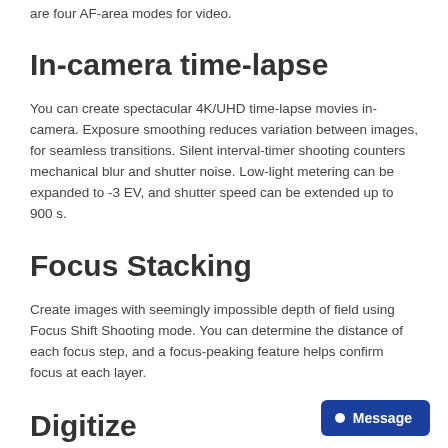are four AF-area modes for video.
In-camera time-lapse
You can create spectacular 4K/UHD time-lapse movies in-camera. Exposure smoothing reduces variation between images, for seamless transitions. Silent interval-timer shooting counters mechanical blur and shutter noise. Low-light metering can be expanded to -3 EV, and shutter speed can be extended up to 900 s.
Focus Stacking
Create images with seemingly impossible depth of field using Focus Shift Shooting mode. You can determine the distance of each focus step, and a focus-peaking feature helps confirm focus at each layer.
Digitize
[Figure (other): Blue Message button with white circle icon and text 'Message']